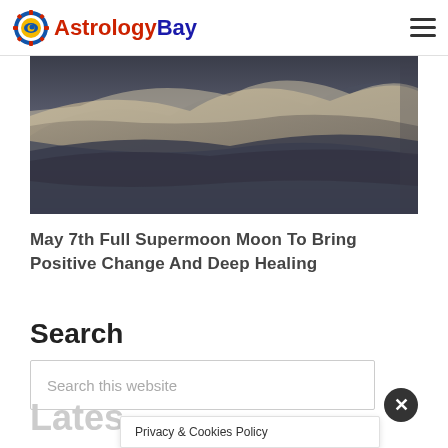AstrologyBay
[Figure (photo): Dramatic cloudy sky with dark blue-grey and light golden cloud formations]
May 7th Full Supermoon Moon To Bring Positive Change And Deep Healing
Search
Search this website
Lates
Privacy & Cookies Policy